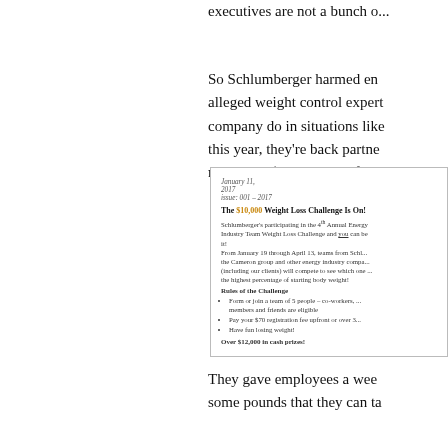executives are not a bunch o...
So Schlumberger harmed en... alleged weight control expert... company do in situations like... this year, they're back partne... money — $2000 apiece for th...
[Figure (other): Embedded newsletter excerpt dated January 11, 2017, issue: 001 - 2017. Title: The $10,000 Weight Loss Challenge Is On! Describes Schlumberger's participation in the 4th Annual Energy Industry Team Weight Loss Challenge. Includes rules: form/join a team of 5 people, pay $70 registration fee, have fun losing weight. Over $12,000 in cash prizes!]
They gave employees a wee... some pounds that they can ta...